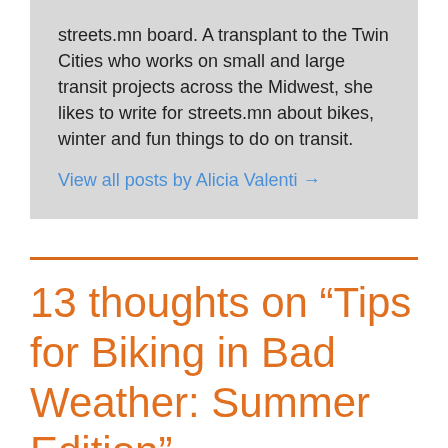streets.mn board. A transplant to the Twin Cities who works on small and large transit projects across the Midwest, she likes to write for streets.mn about bikes, winter and fun things to do on transit.
View all posts by Alicia Valenti →
13 thoughts on “Tips for Biking in Bad Weather: Summer Edition”
DanaD   July 22, 2019 at 9:36 am